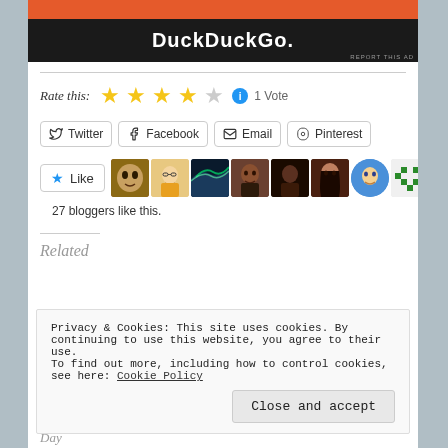[Figure (screenshot): DuckDuckGo advertisement banner with orange top and dark background]
REPORT THIS AD
Rate this: ★★★★☆ ℹ 1 Vote
Twitter  Facebook  Email  Pinterest
[Figure (illustration): Like button with star icon and 10 blogger avatars]
27 bloggers like this.
Related
Privacy & Cookies: This site uses cookies. By continuing to use this website, you agree to their use.
To find out more, including how to control cookies, see here: Cookie Policy
Close and accept
Day